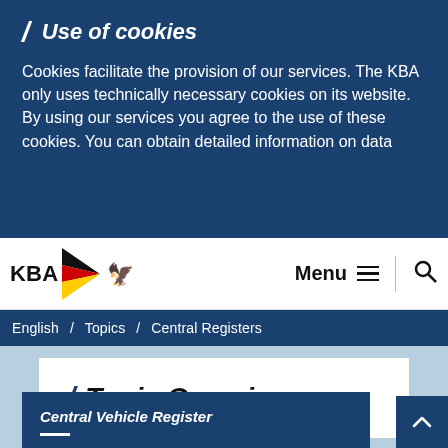Use of cookies
Cookies facilitate the provision of our services. The KBA only uses technically necessary cookies on its website. By using our services you agree to the use of these cookies. You can obtain detailed information on data
[Figure (logo): KBA logo with German flag triangle and eagle]
Menu
English / Topics / Central Registers
Topic Overview
Central Vehicle Register